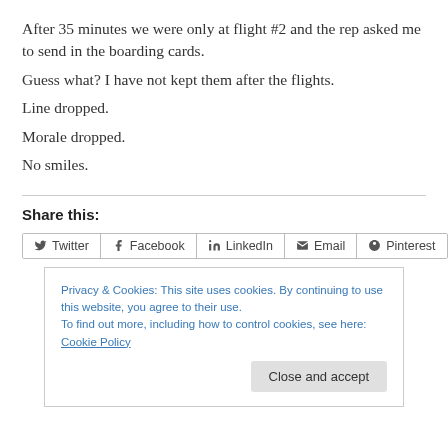After 35 minutes we were only at flight #2 and the rep asked me to send in the boarding cards.
Guess what? I have not kept them after the flights.
Line dropped.
Morale dropped.
No smiles.
Share this:
[Figure (screenshot): Social share buttons row: Twitter, Facebook, LinkedIn, Email, Pinterest]
Privacy & Cookies: This site uses cookies. By continuing to use this website, you agree to their use. To find out more, including how to control cookies, see here: Cookie Policy